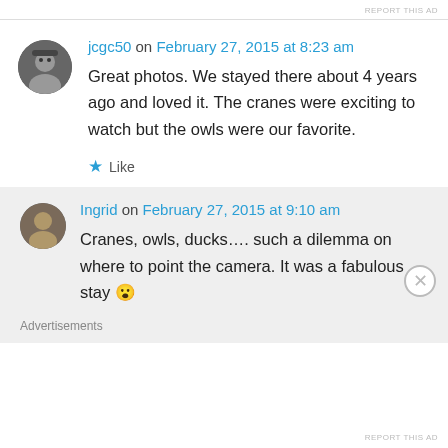REPORT THIS AD
jcgc50 on February 27, 2015 at 8:23 am
Great photos. We stayed there about 4 years ago and loved it. The cranes were exciting to watch but the owls were our favorite.
Like
Ingrid on February 27, 2015 at 9:10 am
Cranes, owls, ducks…. such a dilemma on where to point the camera. It was a fabulous stay 😮
Advertisements
REPORT THIS AD